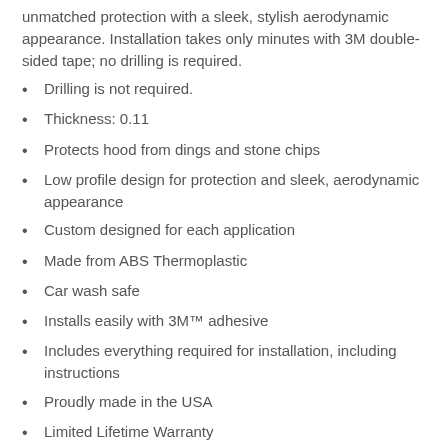unmatched protection with a sleek, stylish aerodynamic appearance. Installation takes only minutes with 3M double-sided tape; no drilling is required.
Drilling is not required.
Thickness: 0.11
Protects hood from dings and stone chips
Low profile design for protection and sleek, aerodynamic appearance
Custom designed for each application
Made from ABS Thermoplastic
Car wash safe
Installs easily with 3M™ adhesive
Includes everything required for installation, including instructions
Proudly made in the USA
Limited Lifetime Warranty
Includes: